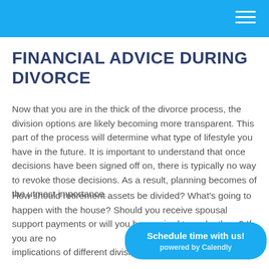FINANCIAL ADVICE DURING DIVORCE
Now that you are in the thick of the divorce process, the division options are likely becoming more transparent.  This part of the process will determine what type of lifestyle you have in the future.  It is important to understand that once decisions have been signed off on, there is typically no way to revoke those decisions.  As a result, planning becomes of the utmost importance.
How should retirement assets be divided?  What's going to happen with the house?  Should you receive spousal support payments or will you be required to make them?  If you are not working, should you be?  What are the tax implications of different divisions?